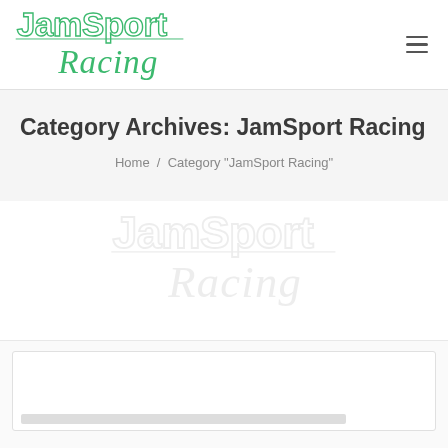[Figure (logo): JamSport Racing logo in green script/block lettering]
Category Archives: JamSport Racing
Home / Category "JamSport Racing"
[Figure (illustration): Faded watermark of JamSport Racing logo in light gray]
[Figure (other): Partially visible content card at bottom of page]